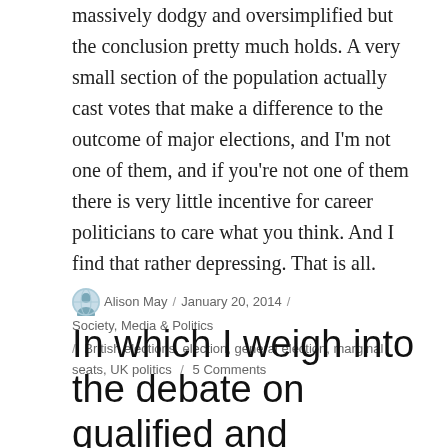massively dodgy and oversimplified but the conclusion pretty much holds. A very small section of the population actually cast votes that make a difference to the outcome of major elections, and I'm not one of them, and if you're not one of them there is very little incentive for career politicians to care what you think. And I find that rather depressing. That is all.
Alison May / January 20, 2014 / Society, Media & Politics / British elections, election, general election, marginal seats, UK politics / 5 Comments
In which I weigh into the debate on qualified and unqualified teachers